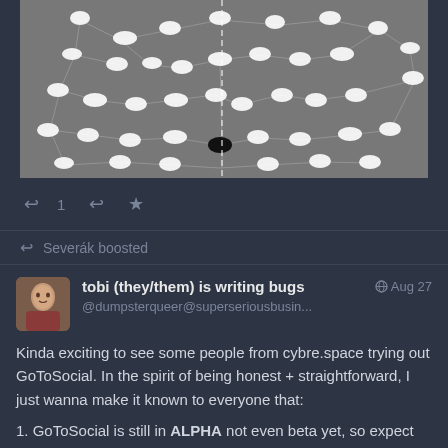[Figure (network-graph): Network graph showing white animal silhouettes (horses, elephants, bears) connected by lines on a grey background, with one black bear silhouette near the center.]
↩ 1  ↩  ★
↩ Severák boosted
tobi (they/them) is writing bugs
@dumpsterqueer@superseriousbusin...
Aug 27
Kinda exciting to see some people from cybre.space trying out GoToSocial. In the spirit of being honest + straightforward, I just wanna make it known to everyone that:
1. GoToSocial is still in ALPHA not even beta yet, so expect bugs. Many bugs! It's constantly